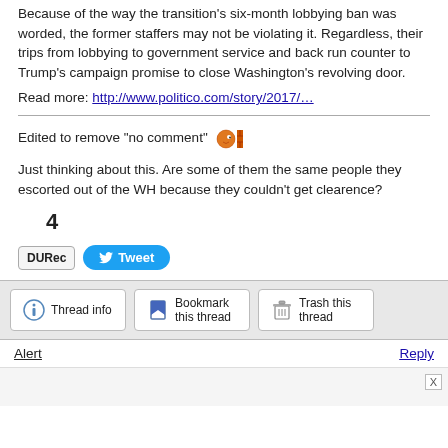Because of the way the transition's six-month lobbying ban was worded, the former staffers may not be violating it. Regardless, their trips from lobbying to government service and back run counter to Trump's campaign promise to close Washington's revolving door.
Read more: http://www.politico.com/story/2017/…
Edited to remove "no comment"
Just thinking about this. Are some of them the same people they escorted out of the WH because they couldn't get clearence?
4
[Figure (other): DU Rec button and Tweet button]
[Figure (other): Thread info, Bookmark this thread, and Trash this thread buttons bar]
Alert    Reply